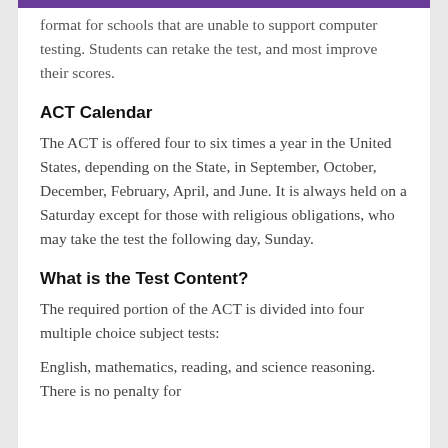format for schools that are unable to support computer testing. Students can retake the test, and most improve their scores.
ACT Calendar
The ACT is offered four to six times a year in the United States, depending on the State, in September, October, December, February, April, and June. It is always held on a Saturday except for those with religious obligations, who may take the test the following day, Sunday.
What is the Test Content?
The required portion of the ACT is divided into four multiple choice subject tests:
English, mathematics, reading, and science reasoning. There is no penalty for